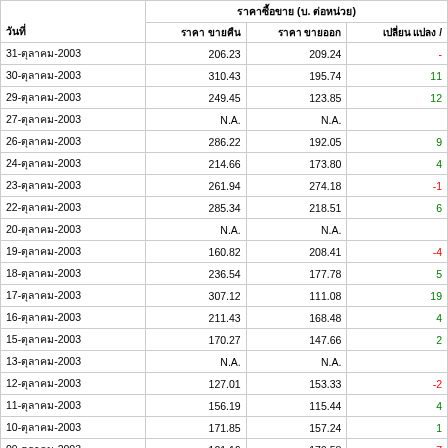| วันที่ | ราคาซื้อขาย (บ. ต่อหน่วย) |  |  |
| --- | --- | --- | --- |
| 31-ตุลาคม-2003 | 206.23 | 209.24 | - |
| 30-ตุลาคม-2003 | 310.43 | 195.74 | 11 |
| 29-ตุลาคม-2003 | 249.45 | 123.85 | 12 |
| 27-ตุลาคม-2003 | N.A. | N.A. |  |
| 26-ตุลาคม-2003 | 286.22 | 192.05 | 9 |
| 24-ตุลาคม-2003 | 214.66 | 173.80 | 4 |
| 23-ตุลาคม-2003 | 261.94 | 274.18 | -1 |
| 22-ตุลาคม-2003 | 285.34 | 218.51 | 6 |
| 20-ตุลาคม-2003 | N.A. | N.A. |  |
| 19-ตุลาคม-2003 | 160.82 | 208.41 | -4 |
| 18-ตุลาคม-2003 | 236.54 | 177.78 | 5 |
| 17-ตุลาคม-2003 | 307.12 | 111.08 | 19 |
| 16-ตุลาคม-2003 | 211.43 | 168.48 | 4 |
| 15-ตุลาคม-2003 | 170.27 | 147.66 | 2 |
| 13-ตุลาคม-2003 | N.A. | N.A. |  |
| 12-ตุลาคม-2003 | 127.01 | 153.33 | -2 |
| 11-ตุลาคม-2003 | 156.19 | 115.44 | 4 |
| 10-ตุลาคม-2003 | 171.85 | 157.24 | 1 |
| 09-ตุลาคม-2003 | 101.16 | 179.58 | -7 |
| 08-ตุลาคม-2003 | 96.96 | 113.90 | -1 |
| 06-ตุลาคม-2003 | N.A. | N.A. |  |